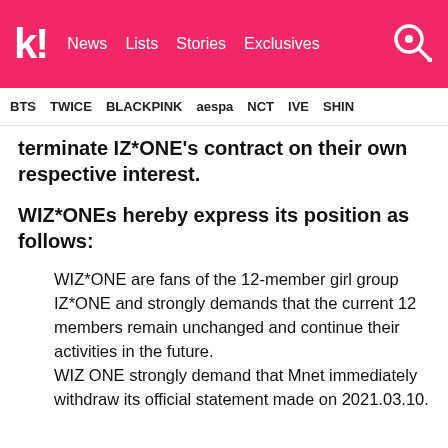Koreaboo | News | Lists | Stories | Exclusives
BTS  TWICE  BLACKPINK  aespa  NCT  IVE  SHINe
terminate IZ*ONE's contract on their own respective interest.
WIZ*ONEs hereby express its position as follows:
WIZ*ONE are fans of the 12-member girl group IZ*ONE and strongly demands that the current 12 members remain unchanged and continue their activities in the future.
WIZ ONE strongly demand that Mnet immediately withdraw its official statement made on 2021.03.10.